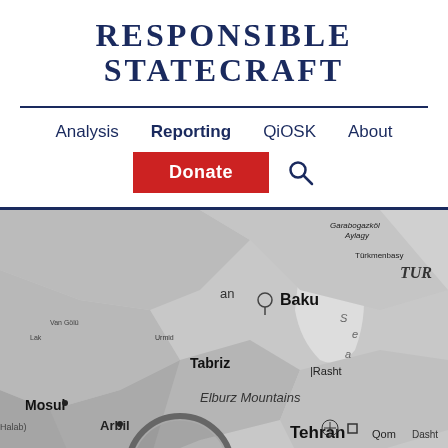RESPONSIBLE STATECRAFT
Analysis  Reporting  QiOSK  About  Donate
[Figure (map): Black and white map showing the Middle East and Caspian region, with cities labeled including Baku, Tabriz, Rasht, Elburz Mountains, Tehran, Qom, Mosul, Arbil. A magnifying glass is partially visible in the lower portion of the image.]